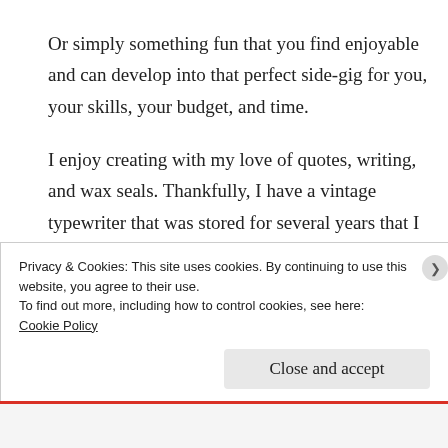Or simply something fun that you find enjoyable and can develop into that perfect side-gig for you, your skills, your budget, and time.
I enjoy creating with my love of quotes, writing, and wax seals. Thankfully, I have a vintage typewriter that was stored for several years that I have been using to create small works of art with my favorite quotes &
Privacy & Cookies: This site uses cookies. By continuing to use this website, you agree to their use.
To find out more, including how to control cookies, see here: Cookie Policy
Close and accept